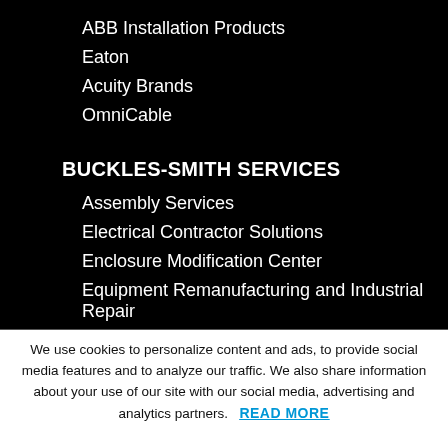ABB Installation Products
Eaton
Acuity Brands
OmniCable
BUCKLES-SMITH SERVICES
Assembly Services
Electrical Contractor Solutions
Enclosure Modification Center
Equipment Remanufacturing and Industrial Repair
Field Services and Drive Startup
We use cookies to personalize content and ads, to provide social media features and to analyze our traffic. We also share information about your use of our site with our social media, advertising and analytics partners. READ MORE
ACCEPT ALL COOKIES